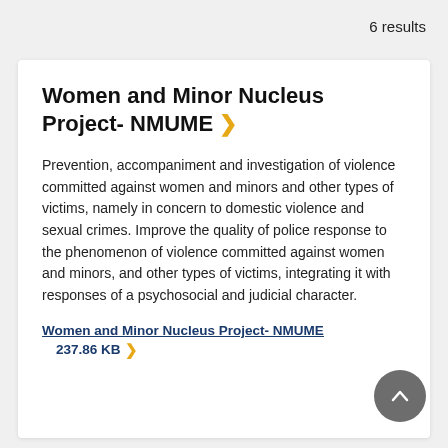6 results
Women and Minor Nucleus Project- NMUME
Prevention, accompaniment and investigation of violence committed against women and minors and other types of victims, namely in concern to domestic violence and sexual crimes. Improve the quality of police response to the phenomenon of violence committed against women and minors, and other types of victims, integrating it with responses of a psychosocial and judicial character.
Women and Minor Nucleus Project- NMUME
237.86 KB